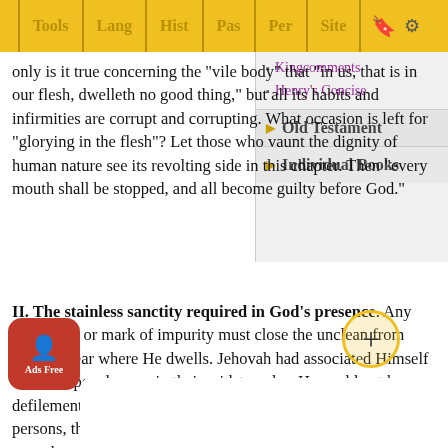Tools | Lang | Hist | Pas | Per | Site
Kingcomments
Henry's Concise
Old Testament
Individual Books
only is it true concerning the "vile body" that "in us, that is in our flesh, dwelleth no good thing," but all its habits and infirmities are corrupt and corrupting. What occasion is left for "glorying in the flesh"? Let those who vaunt the dignity of human nature see its revolting side in this chapter. Then "every mouth shall be stopped, and all become guilty before God."
II. The stainless sanctity required in God’s presence. Any soil, stain, or mark of impurity must close the unclean from coming near where He dwells. Jehovah had associated Himself with this people, was in their midst; and as He could not bear defilement He insists on the most rigorous sanitation of their persons, their privacy, their homes, their worship. It carries its appeal to us that we "perfect holiness in the fear of God…" from before